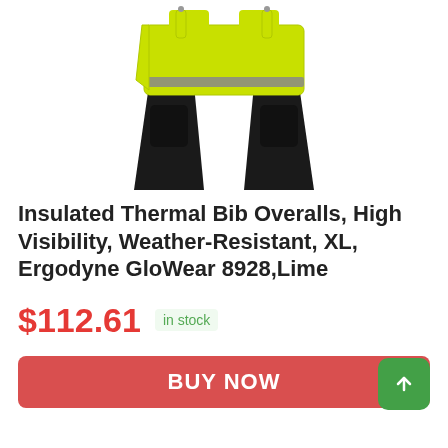[Figure (photo): High-visibility lime/yellow and black insulated bib overalls laid flat, showing reflective stripe and multiple pockets]
Insulated Thermal Bib Overalls, High Visibility, Weather-Resistant, XL, Ergodyne GloWear 8928,Lime
$112.61 in stock
BUY NOW